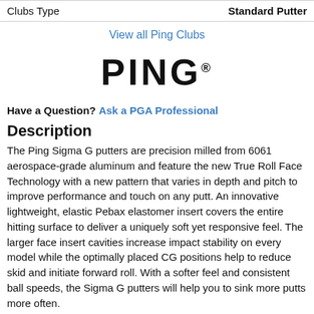| Clubs Type | Standard Putter |
| --- | --- |
View all Ping Clubs
[Figure (logo): PING logo in bold black text with registered trademark symbol]
Have a Question? Ask a PGA Professional
Description
The Ping Sigma G putters are precision milled from 6061 aerospace-grade aluminum and feature the new True Roll Face Technology with a new pattern that varies in depth and pitch to improve performance and touch on any putt. An innovative lightweight, elastic Pebax elastomer insert covers the entire hitting surface to deliver a uniquely soft yet responsive feel. The larger face insert cavities increase impact stability on every model while the optimally placed CG positions help to reduce skid and initiate forward roll. With a softer feel and consistent ball speeds, the Sigma G putters will help you to sink more putts more often.